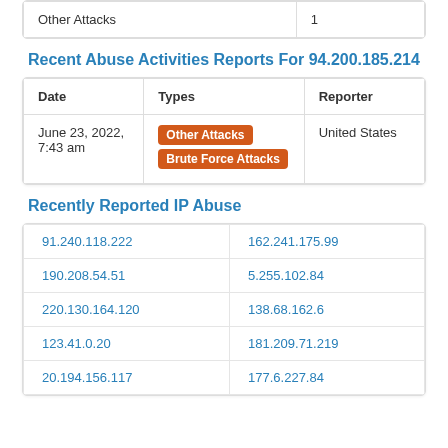|  |  |
| --- | --- |
| Other Attacks | 1 |
Recent Abuse Activities Reports For 94.200.185.214
| Date | Types | Reporter |
| --- | --- | --- |
| June 23, 2022, 7:43 am | Other Attacks | Brute Force Attacks | United States |
Recently Reported IP Abuse
| 91.240.118.222 | 162.241.175.99 |
| 190.208.54.51 | 5.255.102.84 |
| 220.130.164.120 | 138.68.162.6 |
| 123.41.0.20 | 181.209.71.219 |
| 20.194.156.117 | 177.6.227.84 |